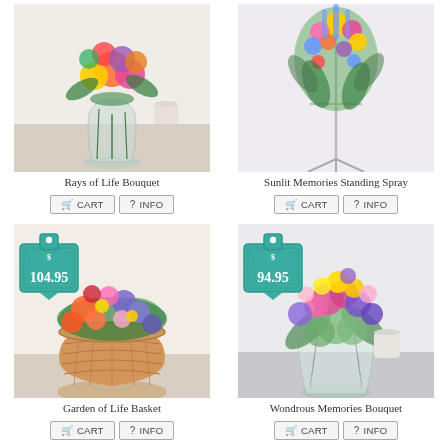[Figure (photo): Photo of Rays of Life Bouquet - colorful flowers in a glass vase on a table]
Rays of Life Bouquet
[Figure (photo): Photo of Sunlit Memories Standing Spray - colorful flowers on a standing easel]
Sunlit Memories Standing Spray
[Figure (photo): Photo of Garden of Life Basket - colorful flowers in a wicker basket with price badge $104.95]
Garden of Life Basket
[Figure (photo): Photo of Wondrous Memories Bouquet - colorful flowers in a glass vase with price badge $94.95]
Wondrous Memories Bouquet